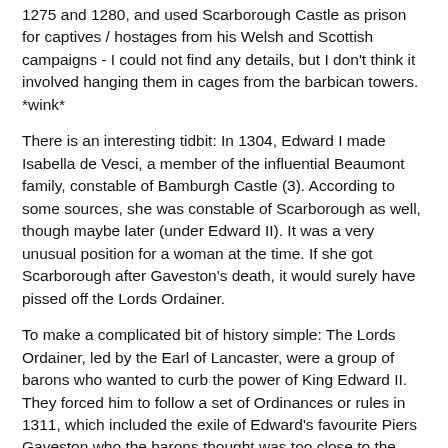1275 and 1280, and used Scarborough Castle as prison for captives / hostages from his Welsh and Scottish campaigns - I could not find any details, but I don't think it involved hanging them in cages from the barbican towers. *wink*
There is an interesting tidbit: In 1304, Edward I made Isabella de Vesci, a member of the influential Beaumont family, constable of Bamburgh Castle (3). According to some sources, she was constable of Scarborough as well, though maybe later (under Edward II). It was a very unusual position for a woman at the time. If she got Scarborough after Gaveston's death, it would surely have pissed off the Lords Ordainer.
To make a complicated bit of history simple: The Lords Ordainer, led by the Earl of Lancaster, were a group of barons who wanted to curb the power of King Edward II. They forced him to follow a set of Ordinances or rules in 1311, which included the exile of Edward's favourite Piers Gaveston who the barons thought was too close to the king and endangered their own position. Not to mention that he gave them insulting nicknames.